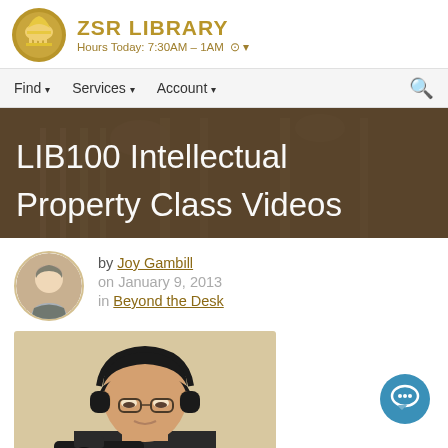ZSR LIBRARY — Hours Today: 7:30AM – 1AM
Find ▾  Services ▾  Account ▾
LIB100 Intellectual Property Class Videos
by Joy Gambill
on January 9, 2013
in Beyond the Desk
[Figure (photo): Person wearing headphones operating a video camera]
[Figure (other): Chat/support button icon]